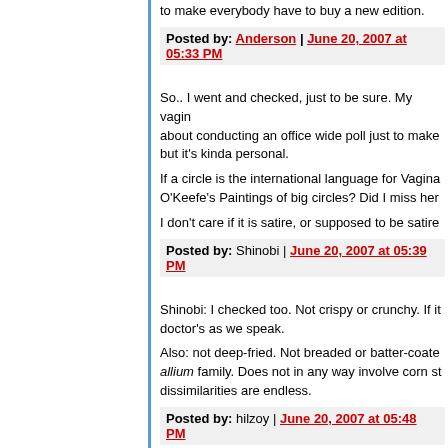to make everybody have to buy a new edition.
Posted by: Anderson | June 20, 2007 at 05:33 PM
So.. I went and checked, just to be sure. My vagin... about conducting an office wide poll just to make... but it's kinda personal.
If a circle is the international language for Vagina... O'Keefe's Paintings of big circles? Did I miss her...
I don't care if it is satire, or supposed to be satire...
Posted by: Shinobi | June 20, 2007 at 05:39 PM
Shinobi: I checked too. Not crispy or crunchy. If it... doctor's as we speak.
Also: not deep-fried. Not breaded or batter-coated... allium family. Does not in any way involve corn st... dissimilarities are endless.
Posted by: hilzoy | June 20, 2007 at 05:48 PM